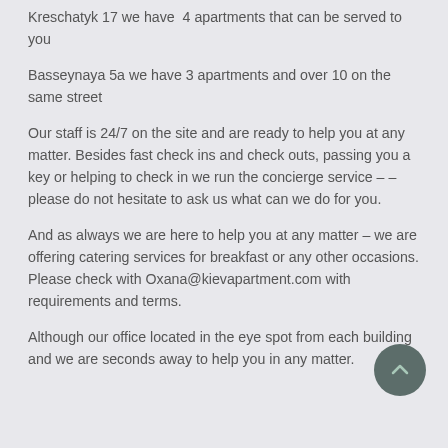Kreschatyk 17 we have  4 apartments that can be served to you
Basseynaya 5a we have 3 apartments and over 10 on the same street
Our staff is 24/7 on the site and are ready to help you at any matter. Besides fast check ins and check outs, passing you a key or helping to check in we run the concierge service – – please do not hesitate to ask us what can we do for you.
And as always we are here to help you at any matter – we are offering catering services for breakfast or any other occasions. Please check with Oxana@kievapartment.com with requirements and terms.
Although our office located in the eye spot from each building and we are seconds away to help you in any matter.